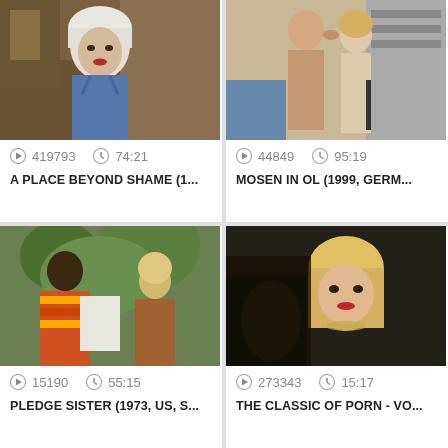[Figure (screenshot): Video thumbnail: woman with white hair and blue shirt]
419793  74:21
A PLACE BEYOND SHAME (1...
[Figure (screenshot): Video thumbnail: couple kissing]
44849  95:19
MOSEN IN OL (1999, GERM...
[Figure (screenshot): Video thumbnail: two women outdoors]
15190  55:15
PLEDGE SISTER (1973, US, S...
[Figure (screenshot): Video thumbnail: blonde woman smiling]
273343  15:17
THE CLASSIC OF PORN - VO...